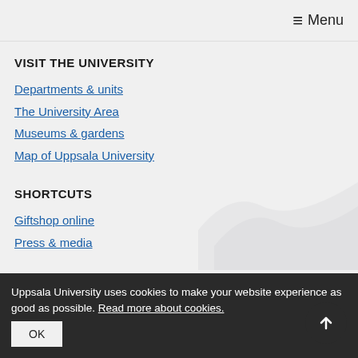≡ Menu
VISIT THE UNIVERSITY
Departments & units
The University Area
Museums & gardens
Map of Uppsala University
SHORTCUTS
Giftshop online
Press & media
Uppsala University uses cookies to make your website experience as good as possible. Read more about cookies.
OK